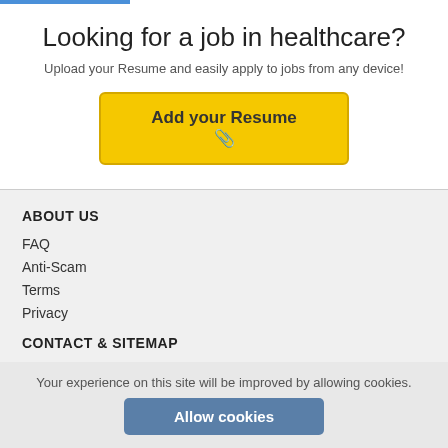Looking for a job in healthcare?
Upload your Resume and easily apply to jobs from any device!
Add your Resume 📎
ABOUT US
FAQ
Anti-Scam
Terms
Privacy
CONTACT & SITEMAP
Contact Us
Your experience on this site will be improved by allowing cookies.
Allow cookies